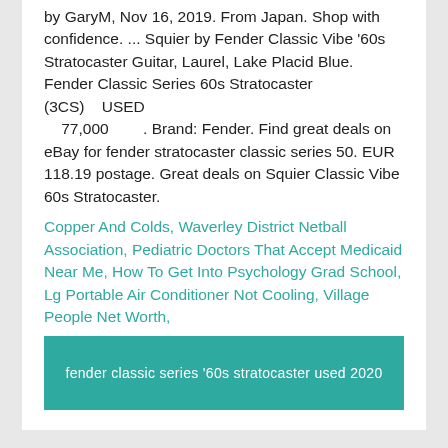by GaryM, Nov 16, 2019. From Japan. Shop with confidence. ... Squier by Fender Classic Vibe '60s Stratocaster Guitar, Laurel, Lake Placid Blue. Fender Classic Series 60s Stratocaster (3CS)    USED    77,000       . Brand: Fender. Find great deals on eBay for fender stratocaster classic series 50. EUR 118.19 postage. Great deals on Squier Classic Vibe 60s Stratocaster.
Copper And Colds, Waverley District Netball Association, Pediatric Doctors That Accept Medicaid Near Me, How To Get Into Psychology Grad School, Lg Portable Air Conditioner Not Cooling, Village People Net Worth,
fender classic series '60s stratocaster used 2020